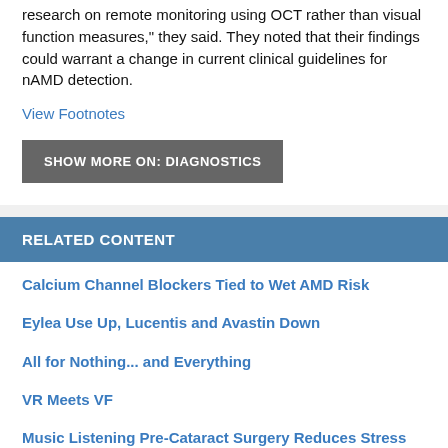research on remote monitoring using OCT rather than visual function measures," they said. They noted that their findings could warrant a change in current clinical guidelines for nAMD detection.
View Footnotes
SHOW MORE ON: DIAGNOSTICS
RELATED CONTENT
Calcium Channel Blockers Tied to Wet AMD Risk
Eylea Use Up, Lucentis and Avastin Down
All for Nothing... and Everything
VR Meets VF
Music Listening Pre-Cataract Surgery Reduces Stress and Tachycardia